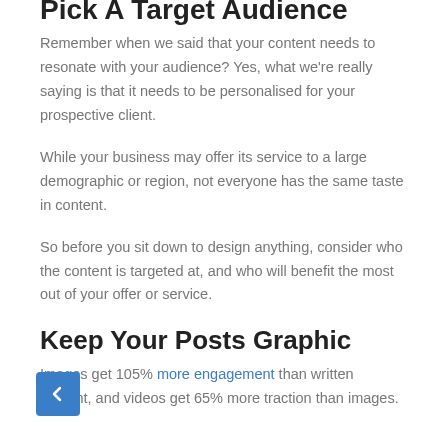Pick A Target Audience
Remember when we said that your content needs to resonate with your audience? Yes, what we're really saying is that it needs to be personalised for your prospective client.
While your business may offer its service to a large demographic or region, not everyone has the same taste in content.
So before you sit down to design anything, consider who the content is targeted at, and who will benefit the most out of your offer or service.
Keep Your Posts Graphic
Images get 105% more engagement than written content, and videos get 65% more traction than images.